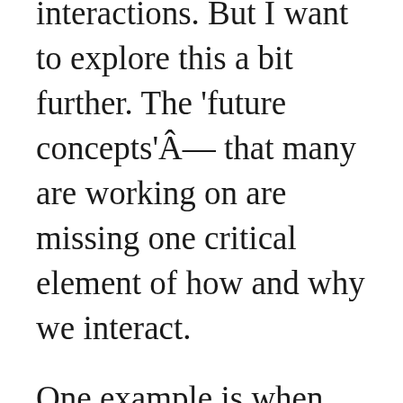interactions. But I want to explore this a bit further. The 'future concepts'Â that many are working on are missing one critical element of how and why we interact.
One example is when the New York Times, presented their interactive mirror. With it, you can check the weather, read the news, and do other cool things - while brushing your teeth.